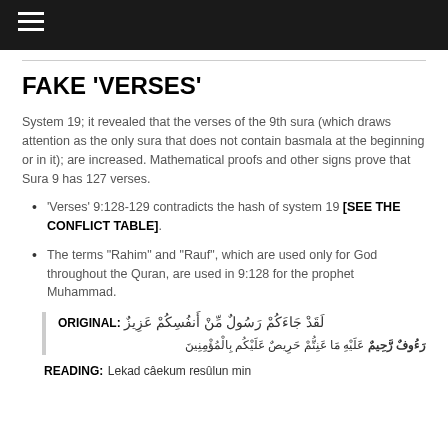☰
FAKE 'VERSES'
System 19; it revealed that the verses of the 9th sura (which draws attention as the only sura that does not contain basmala at the beginning or in it); are increased. Mathematical proofs and other signs prove that Sura 9 has 127 verses.
'Verses' 9:128-129 contradicts the hash of system 19 [SEE THE CONFLICT TABLE].
The terms "Rahim" and "Rauf", which are used only for God throughout the Quran, are used in 9:128 for the prophet Muhammad.
ORIGINAL: لَقَدْ جَاءَكُمْ رَسُولٌ مِّنْ أَنفُسِكُمْ عَزِيزٌ عَلَيْهِ مَا عَنِتُّمْ حَرِيصٌ عَلَيْكُم بِالْمُؤْمِنِينَ رَءُوفٌ رَّحِيمٌ
READING: Lekad câekum resûlun min